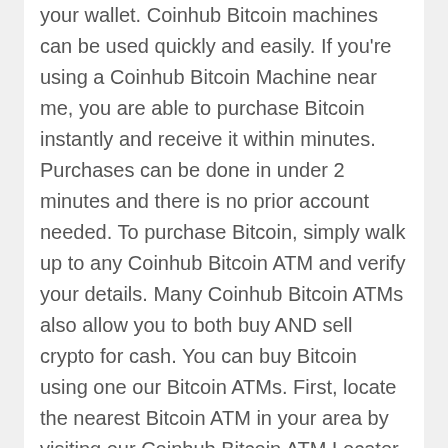your wallet. Coinhub Bitcoin machines can be used quickly and easily. If you're using a Coinhub Bitcoin Machine near me, you are able to purchase Bitcoin instantly and receive it within minutes. Purchases can be done in under 2 minutes and there is no prior account needed. To purchase Bitcoin, simply walk up to any Coinhub Bitcoin ATM and verify your details. Many Coinhub Bitcoin ATMs also allow you to both buy AND sell crypto for cash. You can buy Bitcoin using one our Bitcoin ATMs. First, locate the nearest Bitcoin ATM in your area by visiting our Coinhub Bitcoin ATM Locator. Walk up to the machine and enter your phone number. You will then verify your phone with a code and scan your bitcoin wallet. Enter each bill one at a time to determine the amount you wish to purchase. After that, confirm the purchase by entering the bitcoin atm. Bitcoin is then instantly sent to your wallet. The daily buying limit is $25,000. There are